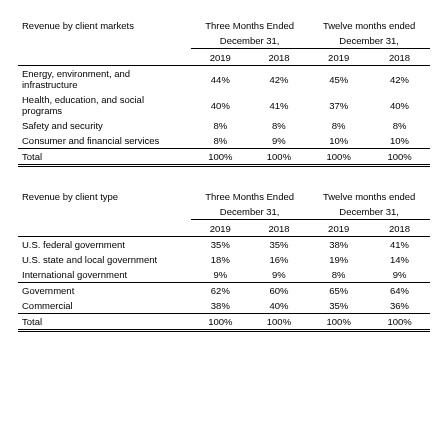| Revenue by client markets | Three Months Ended December 31, 2019 | Three Months Ended December 31, 2018 | Twelve months ended December 31, 2019 | Twelve months ended December 31, 2018 |
| --- | --- | --- | --- | --- |
| Energy, environment, and infrastructure | 44% | 42% | 45% | 42% |
| Health, education, and social programs | 40% | 41% | 37% | 40% |
| Safety and security | 8% | 8% | 8% | 8% |
| Consumer and financial services | 8% | 9% | 10% | 10% |
| Total | 100% | 100% | 100% | 100% |
| Revenue by client type | Three Months Ended December 31, 2019 | Three Months Ended December 31, 2018 | Twelve months ended December 31, 2019 | Twelve months ended December 31, 2018 |
| --- | --- | --- | --- | --- |
| U.S. federal government | 35% | 35% | 38% | 41% |
| U.S. state and local government | 18% | 16% | 19% | 14% |
| International government | 9% | 9% | 8% | 9% |
| Government | 62% | 60% | 65% | 64% |
| Commercial | 38% | 40% | 35% | 36% |
| Total | 100% | 100% | 100% | 100% |